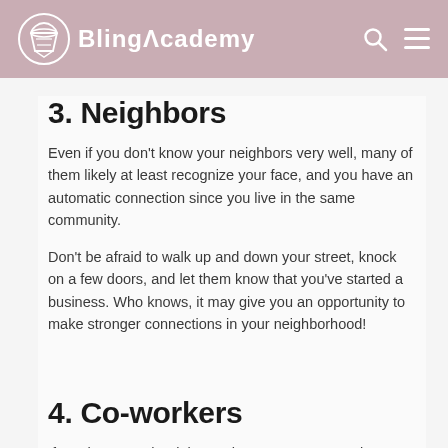BlingAcademy
3. Neighbors
Even if you don't know your neighbors very well, many of them likely at least recognize your face, and you have an automatic connection since you live in the same community.
Don't be afraid to walk up and down your street, knock on a few doors, and let them know that you've started a business. Who knows, it may give you an opportunity to make stronger connections in your neighborhood!
4. Co-workers
If you have another job, reach out to your co-workers